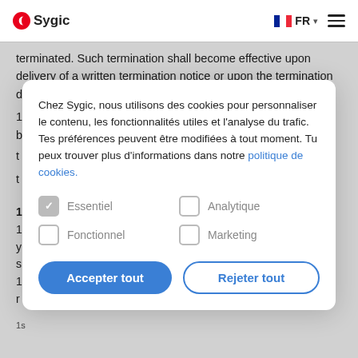Sygic | FR
terminated. Such termination shall become effective upon delivery of a written termination notice or upon the termination date stated therein.
17.2 Transfer of rights and responsibilities from the Agreement by t
Chez Sygic, nous utilisons des cookies pour personnaliser le contenu, les fonctionnalités utiles et l'analyse du trafic. Tes préférences peuvent être modifiées à tout moment. Tu peux trouver plus d'informations dans notre politique de cookies.
Essentiel | Analytique | Fonctionnel | Marketing
Accepter tout | Rejeter tout
s
r
1
1
y
s